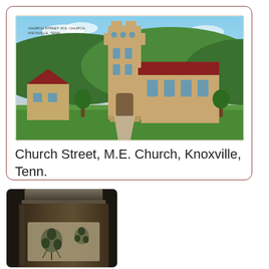[Figure (photo): Colorized postcard illustration of Church Street M.E. Church in Knoxville, Tennessee. A tall Gothic-style stone church tower dominates the center, with red-roofed buildings to the left and right. Green hills and a blue sky with peach clouds in the background.]
Church Street, M.E. Church, Knoxville, Tenn.
[Figure (photo): Close-up photograph of an antique or vintage ceramic jar or canister with floral decorative motifs, appearing aged and darkened. The jar has a decorative label or transfer print with flower designs.]